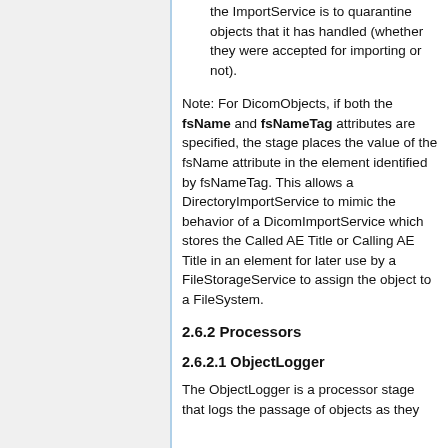the ImportService is to quarantine objects that it has handled (whether they were accepted for importing or not).
Note: For DicomObjects, if both the fsName and fsNameTag attributes are specified, the stage places the value of the fsName attribute in the element identified by fsNameTag. This allows a DirectoryImportService to mimic the behavior of a DicomImportService which stores the Called AE Title or Calling AE Title in an element for later use by a FileStorageService to assign the object to a FileSystem.
2.6.2 Processors
2.6.2.1 ObjectLogger
The ObjectLogger is a processor stage that logs the passage of objects as they